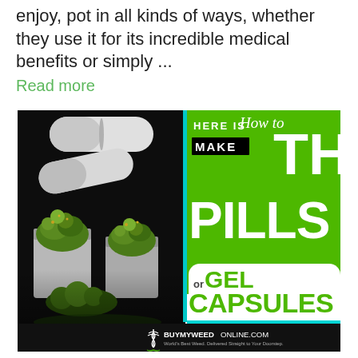enjoy, pot in all kinds of ways, whether they use it for its incredible medical benefits or simply ...
Read more
[Figure (photo): Promotional image showing cannabis pills and gel capsules. Left side shows dark background with white gel capsules and cannabis buds spilling from prescription bottles. Right side has bright green background with text: HERE IS How to MAKE THC PILLS or GEL CAPSULES. Bottom bar shows buymyweedonline.com logo.]